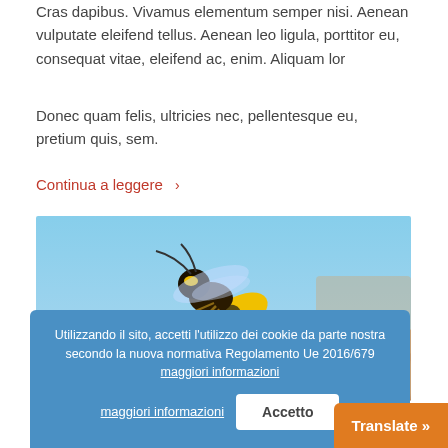Cras dapibus. Vivamus elementum semper nisi. Aenean vulputate eleifend tellus. Aenean leo ligula, porttitor eu, consequat vitae, eleifend ac, enim. Aliquam lor
Donec quam felis, ultricies nec, pellentesque eu, pretium quis, sem.
Continua a leggere ›
[Figure (photo): Close-up macro photo of a yellow and black wasp on a sandy/earthy surface against a blue sky background]
Indented Quotes and images – beautiful
February 17, 2016 · 4 Comments · in Images · by admin
Utilizzando il sito, accetti l'utilizzo dei cookie da parte nostra secondo la nuova normativa Regolamento Ue 2016/679 maggiori informazioni
Accetto
Translate »